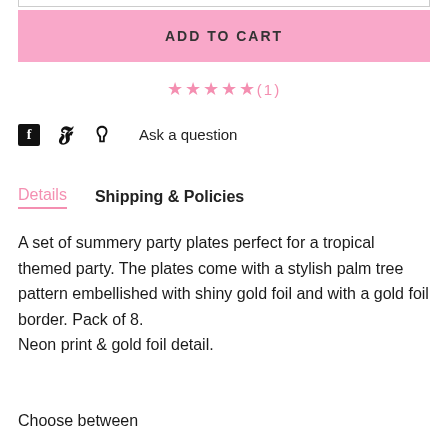[Figure (other): Pink 'ADD TO CART' button]
[Figure (other): 5 pink stars rating with (1) review count]
Ask a question
Details   Shipping & Policies
A set of summery party plates perfect for a tropical themed party. The plates come with a stylish palm tree pattern embellished with shiny gold foil and with a gold foil border. Pack of 8.
Neon print & gold foil detail.
Choose between